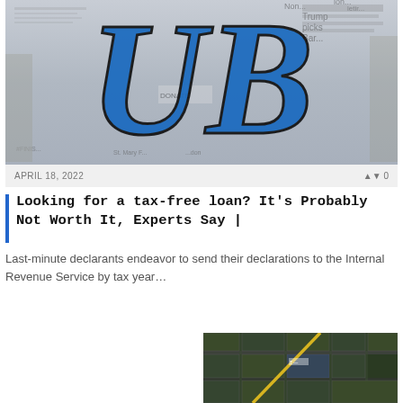[Figure (photo): Website header image showing a person holding newspapers with a large blue UB logo overlaid on top. Newspaper headlines partially visible in background.]
APRIL 18, 2022
0
Looking for a tax-free loan? It's Probably Not Worth It, Experts Say |
Last-minute declarants endeavor to send their declarations to the Internal Revenue Service by tax year…
[Figure (photo): Thumbnail image showing a wooden door or panel with a pink/magenta 'SITE CONTENT' badge overlay.]
[Figure (map): Aerial/satellite map image showing roads and land parcels with a yellow diagonal line indicating a route or boundary.]